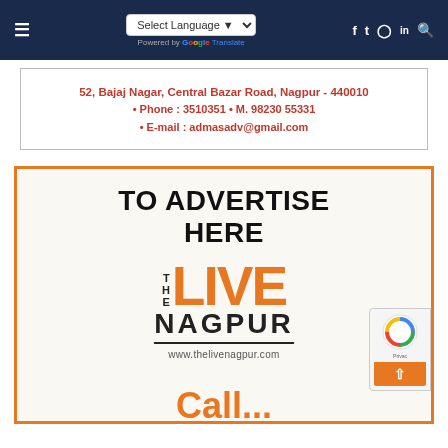Select Language | Powered by Google Translate | Social icons: Facebook, Twitter, Instagram, LinkedIn, Search
52, Bajaj Nagar, Central Bazar Road, Nagpur - 440010 • Phone : 3510351 • M. 98230 55331 • E-mail : admasadv@gmail.com
[Figure (infographic): Advertisement box with orange border. Text 'TO ADVERTISE HERE' in bold black. The Live Nagpur logo with orange LIVE text, NAGPUR in bold with underline, and www.thelivenagpur.com URL. Partial 'Call' text at bottom in orange.]